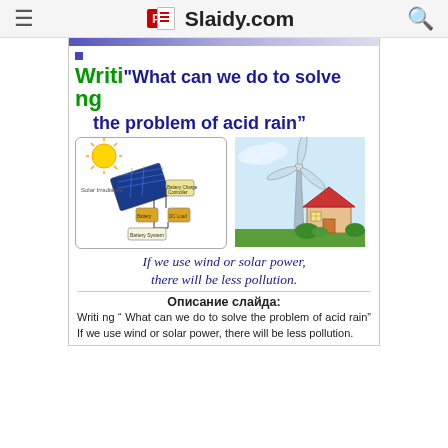Slaidy.com
Writi ng “What can we do to solve the problem of acid rain”
[Figure (illustration): Diagram of a solar panel battery system with sun, solar panels, battery charger controller, battery, and DC load]
[Figure (illustration): Illustration of a wind turbine next to a house with trees]
If we use wind or solar power, there will be less pollution.
Описание слайда:
Writi ng “ What can we do to solve the problem of acid rain” If we use wind or solar power, there will be less pollution.